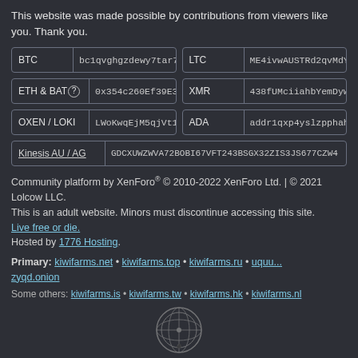This website was made possible by contributions from viewers like you. Thank you.
BTC bc1qvghgzdewy7tar78uy | LTC ME4ivwAUSTRd2qvMdYd1V | ETH & BAT 0x354c260Ef39E3 | XMR 438fUMciiahbYemDyww6a | OXEN / LOKI LWoKwqEjM5qjVt1U | ADA addr1qxp4yslzpphahvms | Kinesis AU / AG GDCXUWZWVA72BOBI67VFT243BSGX32ZIS3JS677CZW4
Community platform by XenForo® © 2010-2022 XenForo Ltd. | © 2021 Lolcow LLC.
This is an adult website. Minors must discontinue accessing this site.
Live free or die.
Hosted by 1776 Hosting.
Primary: kiwifarms.net • kiwifarms.top • kiwifarms.ru • uquu...zyqd.onion
Some others: kiwifarms.is • kiwifarms.tw • kiwifarms.hk • kiwifarms.nl
[Figure (logo): Circular emblem/seal logo in grey]